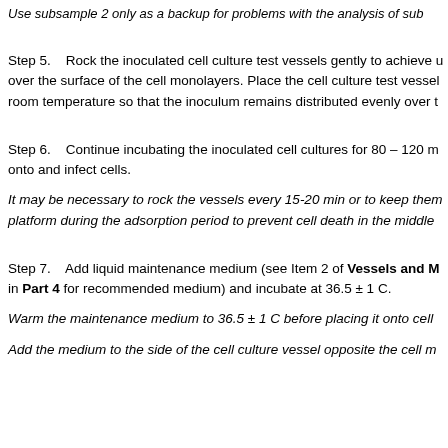Use subsample 2 only as a backup for problems with the analysis of sub
Step 5.    Rock the inoculated cell culture test vessels gently to achieve uniform distribution of the inoculum over the surface of the cell monolayers. Place the cell culture test vessels on a level surface at room temperature so that the inoculum remains distributed evenly over the cell monolayers.
Step 6.    Continue incubating the inoculated cell cultures for 80 – 120 m onto and infect cells.
It may be necessary to rock the vessels every 15-20 min or to keep them platform during the adsorption period to prevent cell death in the middle
Step 7.    Add liquid maintenance medium (see Item 2 of Vessels and M in Part 4 for recommended medium) and incubate at 36.5 ± 1 C.
Warm the maintenance medium to 36.5 ± 1 C before placing it onto cell
Add the medium to the side of the cell culture vessel opposite the cell m